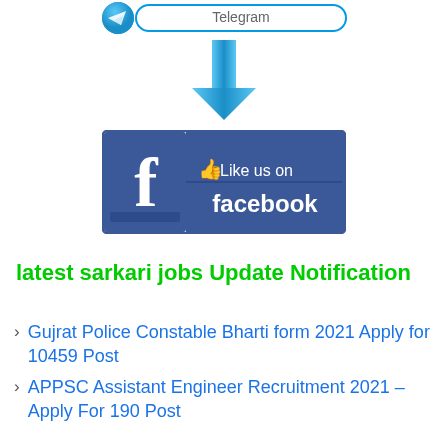[Figure (logo): Partial Telegram button at top of page]
[Figure (illustration): Blue downward arrow pointing down]
[Figure (logo): Facebook Like us on facebook button with blue background and white Facebook logo]
latest sarkari jobs Update Notification
Gujrat Police Constable Bharti form 2021 Apply for 10459 Post
APPSC Assistant Engineer Recruitment 2021 – Apply For 190 Post